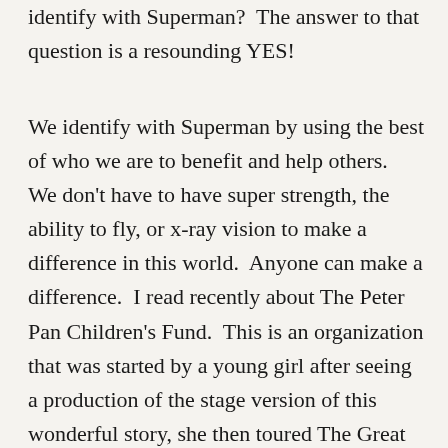identify with Superman?  The answer to that question is a resounding YES!
We identify with Superman by using the best of who we are to benefit and help others.  We don't have to have super strength, the ability to fly, or x-ray vision to make a difference in this world.  Anyone can make a difference.  I read recently about The Peter Pan Children's Fund.  This is an organization that was started by a young girl after seeing a production of the stage version of this wonderful story, she then toured The Great Ormand Street Hospital for Children in London and found compassion for the sick children there.